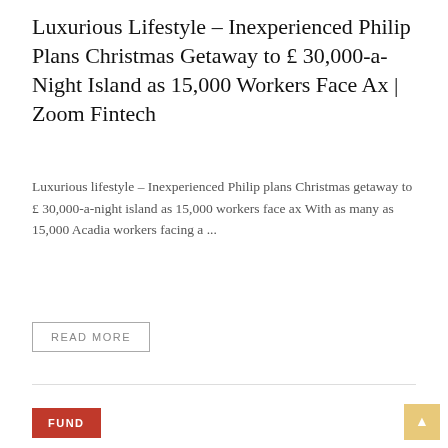Luxurious Lifestyle – Inexperienced Philip Plans Christmas Getaway to £ 30,000-a-Night Island as 15,000 Workers Face Ax | Zoom Fintech
Luxurious lifestyle – Inexperienced Philip plans Christmas getaway to £ 30,000-a-night island as 15,000 workers face ax With as many as 15,000 Acadia workers facing a ...
READ MORE
FUND